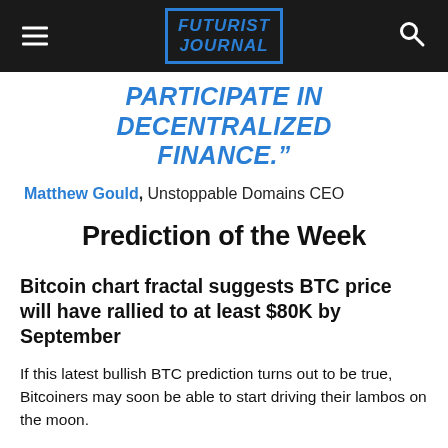Futurist Journal
PARTICIPATE IN DECENTRALIZED FINANCE.”
Matthew Gould, Unstoppable Domains CEO
Prediction of the Week
Bitcoin chart fractal suggests BTC price will have rallied to at least $80K by September
If this latest bullish BTC prediction turns out to be true, Bitcoiners may soon be able to start driving their lambos on the moon.